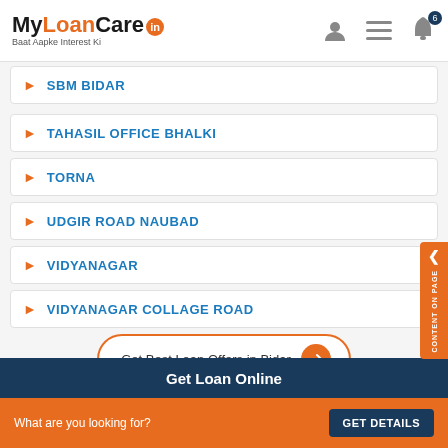MyLoanCare.in - Baat Aapke Interest Ki
SBM BIDAR
TAHASIL OFFICE BHALKI
TORNA
UDGIR ROAD NAUBAD
VIDYANAGAR
VIDYANAGAR COLLAGE ROAD
Get Best Loan Offers in Bidar
Get Loan Online
What are you looking for?
GET DETAILS